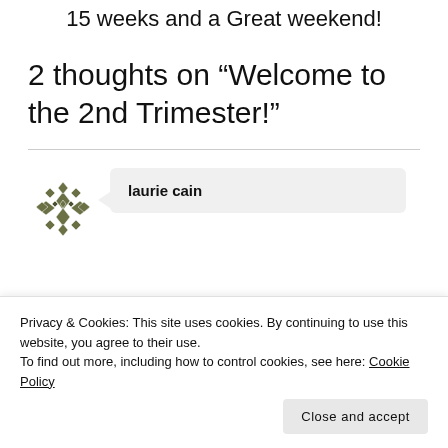15 weeks and a Great weekend!
2 thoughts on “Welcome to the 2nd Trimester!”
laurie cain
Privacy & Cookies: This site uses cookies. By continuing to use this website, you agree to their use.
To find out more, including how to control cookies, see here: Cookie Policy
Close and accept